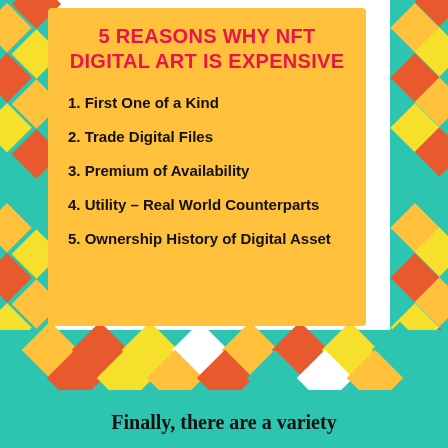5 REASONS WHY NFT DIGITAL ART IS EXPENSIVE
1. First One of a Kind
2. Trade Digital Files
3. Premium of Availability
4. Utility – Real World Counterparts
5. Ownership History of Digital Asset
Finally, there are a variety